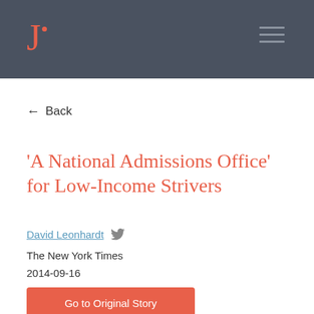J
← Back
'A National Admissions Office' for Low-Income Strivers
David Leonhardt
The New York Times
2014-09-16
Go to Original Story